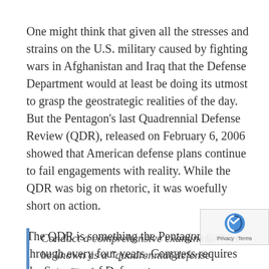One might think that given all the stresses and strains on the U.S. military caused by fighting wars in Afghanistan and Iraq that the Defense Department would at least be doing its utmost to grasp the geostrategic realities of the day. But the Pentagon’s last Quadrennial Defense Review (QDR), released on February 6, 2006 showed that American defense plans continue to fail engagements with reality. While the QDR was big on rhetoric, it was woefully short on action.
The QDR is something the Pentagon goes through every four years. Congress requires the Secretary of Defense to:
Conduct a comprehensive examination (to be known as a “quadrennial defense review”) of the